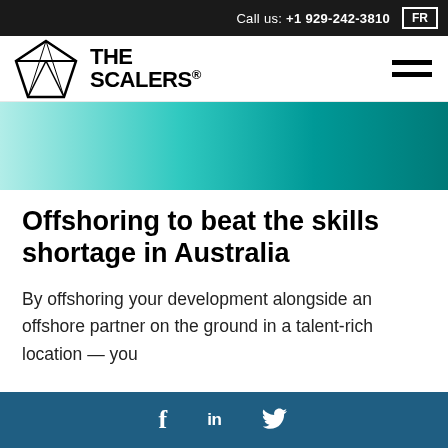Call us: +1 929-242-3810  FR
[Figure (logo): The Scalers logo with geometric diamond/gem icon and bold text 'THE SCALERS']
[Figure (illustration): Teal/cyan to dark teal gradient hero banner background]
Offshoring to beat the skills shortage in Australia
By offshoring your development alongside an offshore partner on the ground in a talent-rich location — you
f  in  (twitter bird icon)